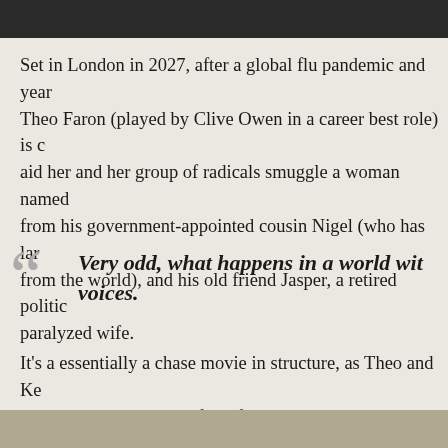[Figure (photo): Dark image strip at top of page, partial photo cropped]
Set in London in 2027, after a global flu pandemic and year Theo Faron (played by Clive Owen in a career best role) is c aid her and her group of radicals smuggle a woman named from his government-appointed cousin Nigel (who has lar from the world), and his old friend Jasper, a retired politic paralyzed wife.
Very odd, what happens in a world wit voices.
It's a essentially a chase movie in structure, as Theo and Ke stumbling into the crossfire of an almighty battle to regain on the way. It's a desperately human struggle, with lives hu stuff.
[Figure (photo): Partial photo at bottom of page]